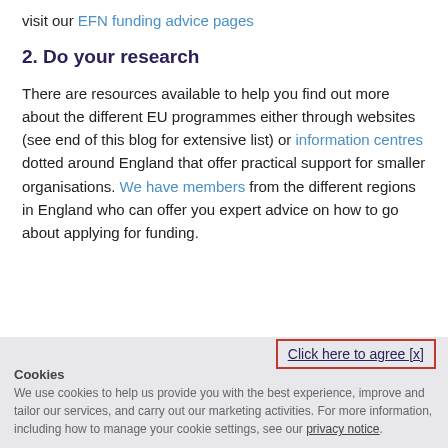visit our EFN funding advice pages
2. Do your research
There are resources available to help you find out more about the different EU programmes either through websites (see end of this blog for extensive list) or information centres dotted around England that offer practical support for smaller organisations. We have members from the different regions in England who can offer you expert advice on how to go about applying for funding.
Click here to agree [x]
Cookies
We use cookies to help us provide you with the best experience, improve and tailor our services, and carry out our marketing activities. For more information, including how to manage your cookie settings, see our privacy notice.